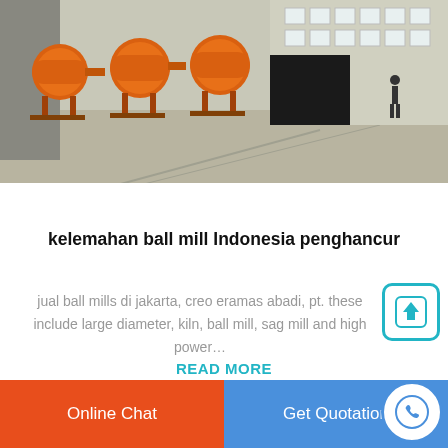[Figure (photo): Outdoor industrial scene showing orange ball mill machines on a concrete yard in front of a large warehouse/factory building. A person is visible in the background on the right.]
kelemahan ball mill Indonesia penghancur
jual ball mills di jakarta, creo eramas abadi, pt. these include large diameter, kiln, ball mill, sag mill and high power…
READ MORE
Online Chat   Get Quotation